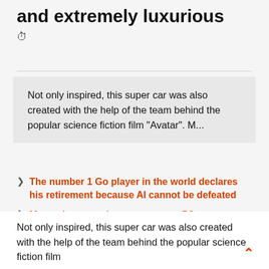and extremely luxurious
⏱
Not only inspired, this super car was also created with the help of the team behind the popular science fiction film "Avatar". M...
The number 1 Go player in the world declares his retirement because AI cannot be defeated
Many phone carriers announce a 5G smartphone launch as early as 2020
Find out about GIGABYTE GTX 1660 SUPER from the Nvidia family
Not only inspired, this super car was also created with the help of the team behind the popular science fiction film